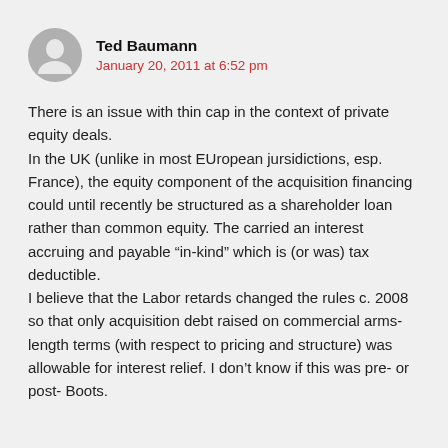Ted Baumann
January 20, 2011 at 6:52 pm
There is an issue with thin cap in the context of private equity deals.
In the UK (unlike in most EUropean jursidictions, esp. France), the equity component of the acquisition financing could until recently be structured as a shareholder loan rather than common equity. The carried an interest accruing and payable “in-kind” which is (or was) tax deductible.
I believe that the Labor retards changed the rules c. 2008 so that only acquisition debt raised on commercial arms-length terms (with respect to pricing and structure) was allowable for interest relief. I don’t know if this was pre- or post- Boots.